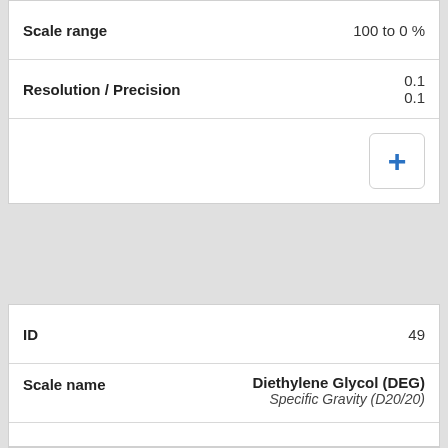| Field | Value |
| --- | --- |
| Scale range | 100 to 0 % |
| Resolution / Precision | 0.1
0.1 |
|  | + |
| Field | Value |
| --- | --- |
| ID | 49 |
| Scale name | Diethylene Glycol (DEG)
Specific Gravity (D20/20) |
| Scale range | 1.0000 to 1.1184 |
| Resolution / Precision | 0.0001
0.0001 |
|  | + |